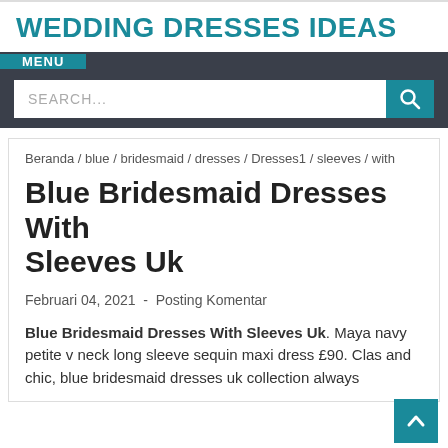WEDDING DRESSES IDEAS
MENU
SEARCH...
Beranda / blue / bridesmaid / dresses / Dresses1 / sleeves / with
Blue Bridesmaid Dresses With Sleeves Uk
Februari 04, 2021  -  Posting Komentar
Blue Bridesmaid Dresses With Sleeves Uk. Maya navy petite v neck long sleeve sequin maxi dress £90. Clas and chic, blue bridesmaid dresses uk collection always